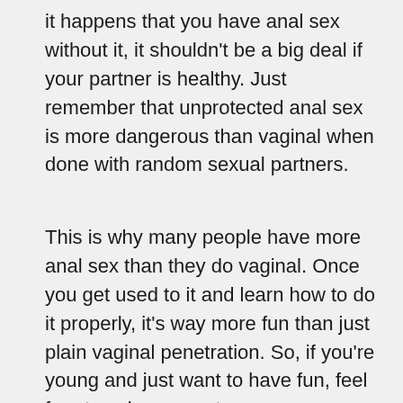it happens that you have anal sex without it, it shouldn't be a big deal if your partner is healthy. Just remember that unprotected anal sex is more dangerous than vaginal when done with random sexual partners.
This is why many people have more anal sex than they do vaginal. Once you get used to it and learn how to do it properly, it's way more fun than just plain vaginal penetration. So, if you're young and just want to have fun, feel free to ask your partner